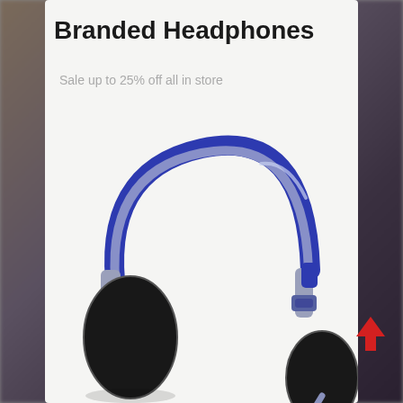Branded Headphones
Sale up to 25% off all in store
[Figure (illustration): Blue and grey over-ear headphones with microphone boom, viewed from a slight angle, rendered in 3D style on a light grey-white background card.]